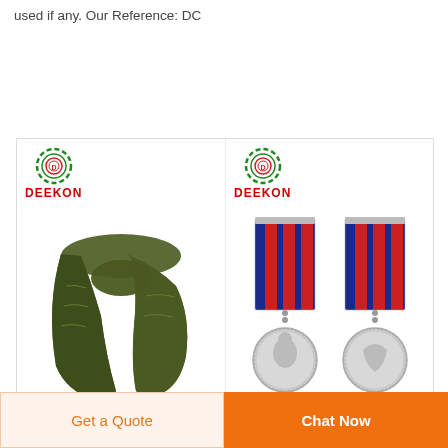used if any. Our Reference: DC
[Figure (photo): Two product images side by side with Deekon branding: left shows an olive/dark green military scarf, right shows two military medals with striped ribbons (navy and red stripes) and silver medallions]
Get a Quote
Chat Now